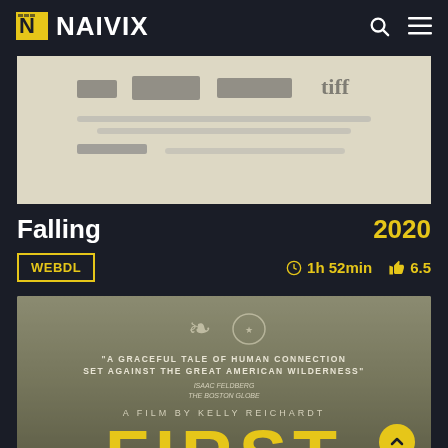NAIVIX
[Figure (photo): Movie poster or promotional image with film festival logos and blurred text on light beige background]
Falling
2020
WEBDL
1h 52min  6.5
[Figure (photo): Movie poster for 'First Cow' - a film by Kelly Reichardt. Quote: 'A graceful tale of human connection set against the great american wilderness' - Isaac Feldberg, The Boston Globe. Large yellow text spelling FIRST at the bottom.]